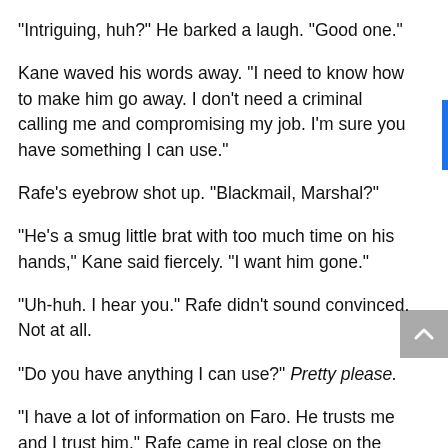“Intriguing, huh?” He barked a laugh. “Good one.”
Kane waved his words away. “I need to know how to make him go away. I don’t need a criminal calling me and compromising my job. I’m sure you have something I can use.”
Rafe’s eyebrow shot up. “Blackmail, Marshal?”
“He’s a smug little brat with too much time on his hands,” Kane said fiercely. “I want him gone.”
“Uh-huh. I hear you.” Rafe didn’t sound convinced. Not at all.
“Do you have anything I can use?” Pretty please.
“I have a lot of information on Faro. He trusts me and I trust him.” Rafe came in real close on the screen. “He was the one who helped me get out of Brooklyn. He was the one who watched out for